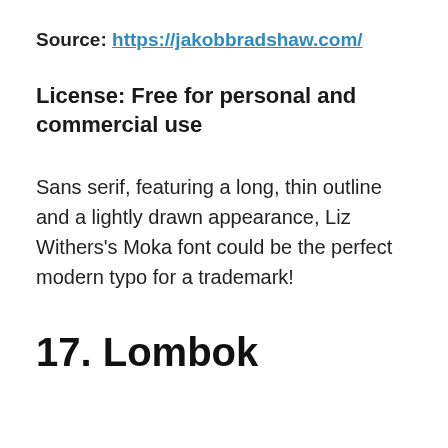Source: https://jakobbradshaw.com/
License: Free for personal and commercial use
Sans serif, featuring a long, thin outline and a lightly drawn appearance, Liz Withers's Moka font could be the perfect modern typo for a trademark!
17. Lombok